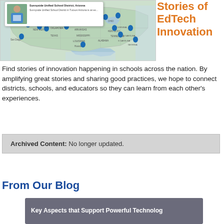[Figure (map): Interactive map of the United States with blue location pins marking various school districts. A popup shows 'Sunnyside Unified School District, Arizona' with a small thumbnail image and text 'Sunnyside Unified School District in Tucson Arizona is an ex...']
Stories of EdTech Innovation
Find stories of innovation happening in schools across the nation. By amplifying great stories and sharing good practices, we hope to connect districts, schools, and educators so they can learn from each other's experiences.
Archived Content: No longer updated.
From Our Blog
[Figure (screenshot): Blog post card with dark gray/purple background showing text 'Key Aspects that Support Powerful Technolog' (truncated)]